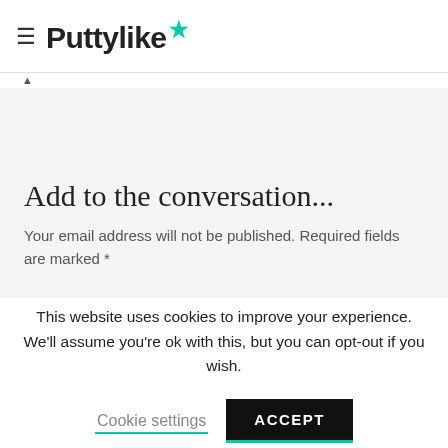≡ Puttylike★
▲
Add to the conversation...
Your email address will not be published. Required fields are marked *
This website uses cookies to improve your experience. We'll assume you're ok with this, but you can opt-out if you wish.
Cookie settings  ACCEPT